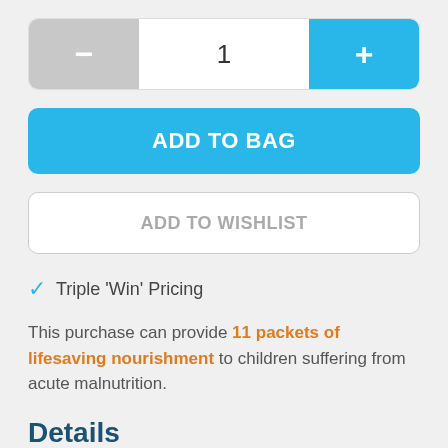[Figure (screenshot): Quantity selector with minus button (grey), value '1', and plus button (blue)]
ADD TO BAG
ADD TO WISHLIST
Triple 'Win' Pricing
This purchase can provide 11 packets of lifesaving nourishment to children suffering from acute malnutrition.
Details